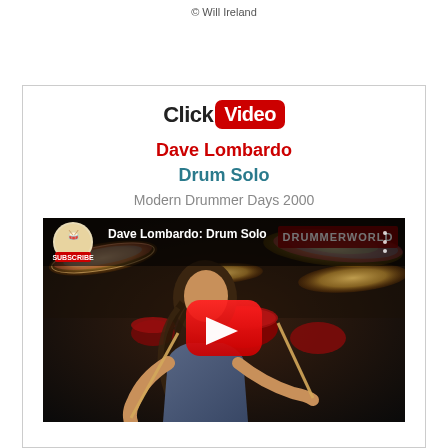© Will Ireland
[Figure (logo): ClickVideo logo — 'Click' in bold black, 'Video' in white on red rounded rectangle background]
Dave Lombardo
Drum Solo
Modern Drummer Days 2000
[Figure (screenshot): YouTube video thumbnail showing Dave Lombardo playing a drum kit with a red YouTube play button overlay. Top bar shows 'Dave Lombardo: Drum Solo' title and DRUMMERWORLD watermark. A Subscribe badge is visible top-left.]